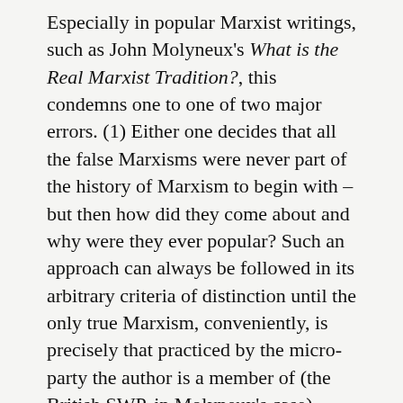Especially in popular Marxist writings, such as John Molyneux's What is the Real Marxist Tradition?, this condemns one to one of two major errors. (1) Either one decides that all the false Marxisms were never part of the history of Marxism to begin with – but then how did they come about and why were they ever popular? Such an approach can always be followed in its arbitrary criteria of distinction until the only true Marxism, conveniently, is precisely that practiced by the micro-party the author is a member of (the British SWP, in Molyneux's case).
The other possibility is to declare that they were false Marxisms, but popular due to their appeal for a certain class base or some other political foundation that doesn't 'count' for true Marxism